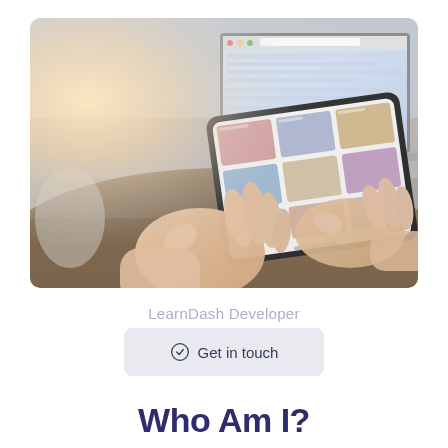[Figure (photo): Person using a tablet device at a wooden desk with a laptop in the background showing a web browser. The photo has warm lighting from the left side. The tablet displays a grid of colorful content/images.]
LearnDash Developer
Get in touch
Who Am I?